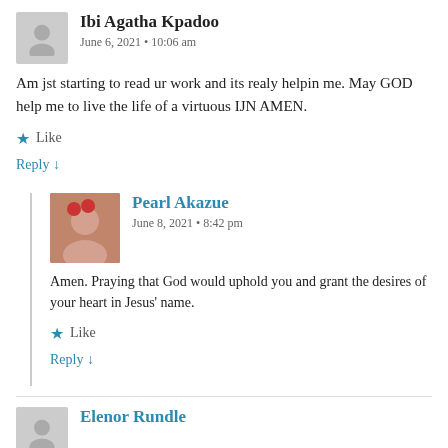Ibi Agatha Kpadoo
June 6, 2021 • 10:06 am
Am jst starting to read ur work and its realy helpin me. May GOD help me to live the life of a virtuous IJN AMEN.
Like
Reply ↓
Pearl Akazue
June 8, 2021 • 8:42 pm
Amen. Praying that God would uphold you and grant the desires of your heart in Jesus' name.
Like
Reply ↓
Elenor Rundle